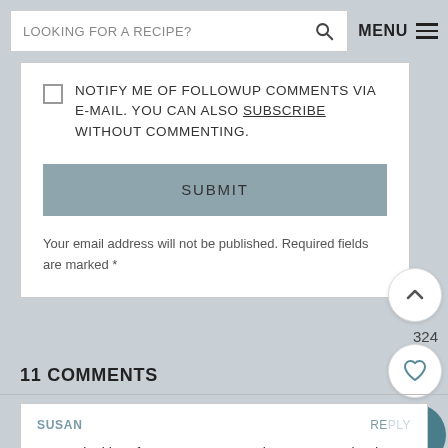LOOKING FOR A RECIPE? MENU
NOTIFY ME OF FOLLOWUP COMMENTS VIA E-MAIL. YOU CAN ALSO SUBSCRIBE WITHOUT COMMENTING.
SUBMIT
Your email address will not be published. Required fields are marked *
324
11 COMMENTS
SUSAN
REPLY
I was looking for a great green bean casserole then I checked your website and lo and behold you had just posted your recipe. I cannot wait to try it, looks really good and having tried all your recipes before, I am sure